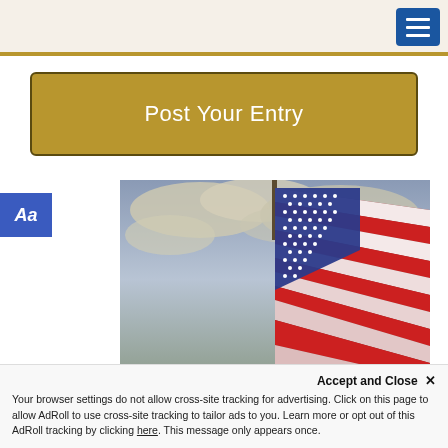Post Your Entry
[Figure (photo): American flag photographed against a dramatic cloudy sky, showing the stars and stripes waving, with the flag pole at the top center.]
Accept and Close ✕
Your browser settings do not allow cross-site tracking for advertising. Click on this page to allow AdRoll to use cross-site tracking to tailor ads to you. Learn more or opt out of this AdRoll tracking by clicking here. This message only appears once.